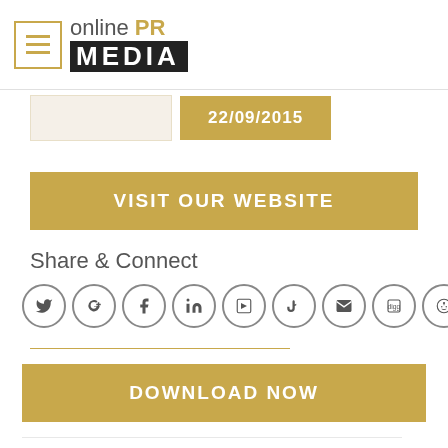[Figure (logo): Online PR Media logo with hamburger menu icon. Logo shows 'online PR' in light gray with PR in gold, and 'MEDIA' in white on black background.]
22/09/2015
VISIT OUR WEBSITE
Share & Connect
[Figure (infographic): Row of social media circular icon buttons: Twitter, Google+, Facebook, LinkedIn, an app icon, StumbleUpon, Email/envelope, Digg, Reddit]
DOWNLOAD NOW